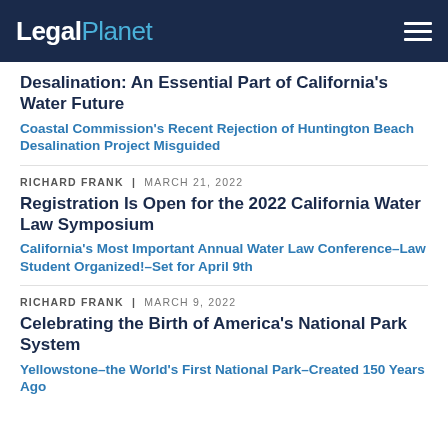LegalPlanet
Desalination: An Essential Part of California's Water Future
Coastal Commission's Recent Rejection of Huntington Beach Desalination Project Misguided
RICHARD FRANK  |  MARCH 21, 2022
Registration Is Open for the 2022 California Water Law Symposium
California's Most Important Annual Water Law Conference–Law Student Organized!–Set for April 9th
RICHARD FRANK  |  MARCH 9, 2022
Celebrating the Birth of America's National Park System
Yellowstone–the World's First National Park–Created 150 Years Ago